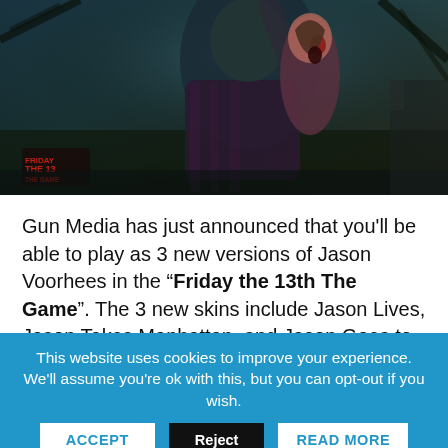[Figure (illustration): Horror game artwork showing Jason Voorhees grabbing a victim in a dark forest setting, with 'Friday the 13th The Game' logo visible in red in the lower left]
Gun Media has just announced that you'll be able to play as 3 new versions of Jason Voorhees in the "Friday the 13th The Game". The 3 new skins include Jason Lives, Jason Takes Manhattan, and Jason Goes to Hell. Check out the stretch goal announcement video down below, which features horror icon Kane Hodder, along with Ben from Gun Media.
This website uses cookies to improve your experience. We'll assume you're ok with this, but you can opt-out if you wish. ACCEPT | Reject | READ MORE